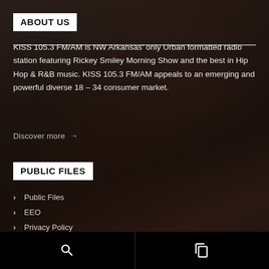ABOUT US
KISS 105.3 FM/AM is NW Arkansas' only Urban formatted radio station featuring Rickey Smiley Morning Show and the best in Hip Hop & R&B music. KISS 105.3 FM/AM appeals to an emerging and powerful diverse 18 – 34 consumer market.
Discover more →
PUBLIC FILES
Public Files
EEO
Privacy Policy
Contact us now!